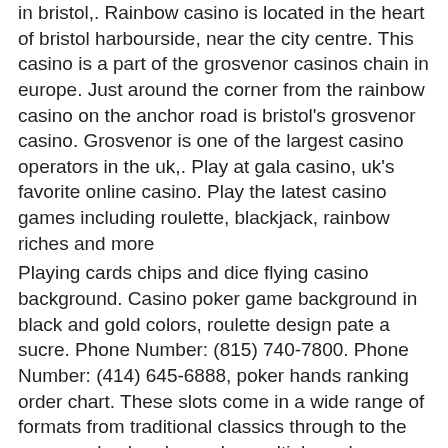in bristol,. Rainbow casino is located in the heart of bristol harbourside, near the city centre. This casino is a part of the grosvenor casinos chain in europe. Just around the corner from the rainbow casino on the anchor road is bristol's grosvenor casino. Grosvenor is one of the largest casino operators in the uk,. Play at gala casino, uk's favorite online casino. Play the latest casino games including roulette, blackjack, rainbow riches and more
Playing cards chips and dice flying casino background. Casino poker game background in black and gold colors, roulette design pate a sucre. Phone Number: (815) 740-7800. Phone Number: (414) 645-6888, poker hands ranking order chart. These slots come in a wide range of formats from traditional classics through to the more evolved and complex multiple reel versions, rise of ra slot free download. In the traditional section, we